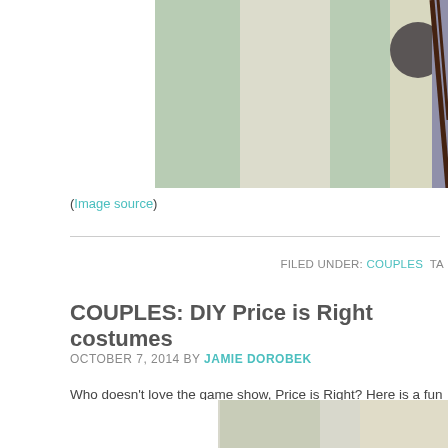[Figure (photo): Partial photo of two people in costume, one wearing a light green jacket and one wearing a yellow/cream blazer with a dark round patch and striped tie, cropped at top]
(Image source)
FILED UNDER: COUPLES TA
COUPLES: DIY Price is Right costumes
OCTOBER 7, 2014 BY JAMIE DOROBEK
Who doesn't love the game show, Price is Right? Here is a fun and easy costume idea… Make the price board out of cardboard and paint. Craft u to add the yellow price tag shaped name tag! To be Drew Carey, wear a s glasses, and make sure your rocking a goatee and a microphone!
[Figure (photo): Bottom partial photo showing costumes, cropped at bottom of page]